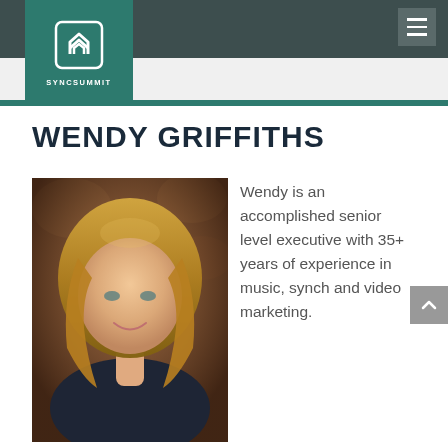SyncSummit
WENDY GRIFFITHS
[Figure (photo): Portrait photo of Wendy Griffiths, a woman with long blonde hair, smiling, wearing a dark top, in an indoor setting with warm brick background lighting.]
Wendy is an accomplished senior level executive with 35+ years of experience in music, synch and video marketing.